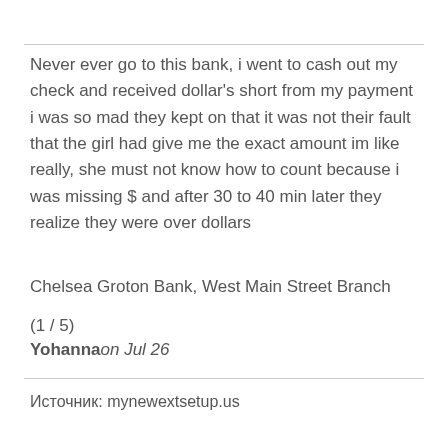Never ever go to this bank, i went to cash out my check and received dollar's short from my payment i was so mad they kept on that it was not their fault that the girl had give me the exact amount im like really, she must not know how to count because i was missing $ and after 30 to 40 min later they realize they were over dollars
Chelsea Groton Bank, West Main Street Branch
(1 / 5)
Yohanna on Jul 26
Источник: mynewextsetup.us